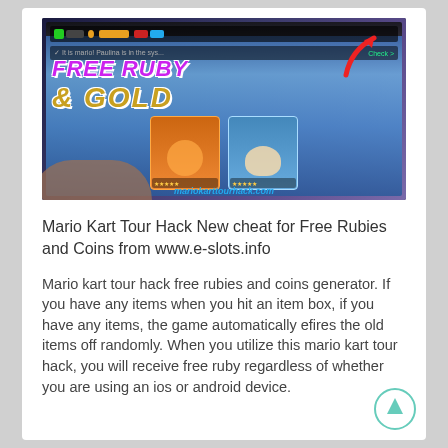[Figure (screenshot): Screenshot of a Mario Kart Tour game interface on a mobile device showing 'FREE RUBY & GOLD' text with an arrow pointing to game UI, and the website mariotkarttourhack.com]
Mario Kart Tour Hack New cheat for Free Rubies and Coins from www.e-slots.info
Mario kart tour hack free rubies and coins generator. If you have any items when you hit an item box, if you have any items, the game automatically efires the old items off randomly. When you utilize this mario kart tour hack, you will receive free ruby regardless of whether you are using an ios or android device.